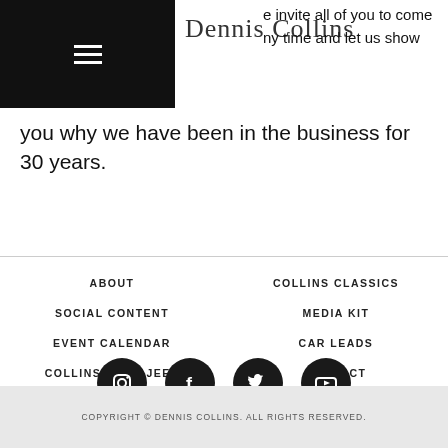[Figure (logo): Dennis Collins script logo with hamburger menu icon on black background]
e invite all of you to come ny time and let us show you why we have been in the business for 30 years.
ABOUT
COLLINS CLASSICS
SOCIAL CONTENT
MEDIA KIT
EVENT CALENDAR
CAR LEADS
COLLINS BROS JEEP
CONTACT
BLKMTN
GAS MONKEY
[Figure (illustration): Row of four social media icons (Instagram, Facebook, Twitter, YouTube) as white icons on black circles]
COPYRIGHT © DENNIS COLLINS. ALL RIGHTS RESERVED.